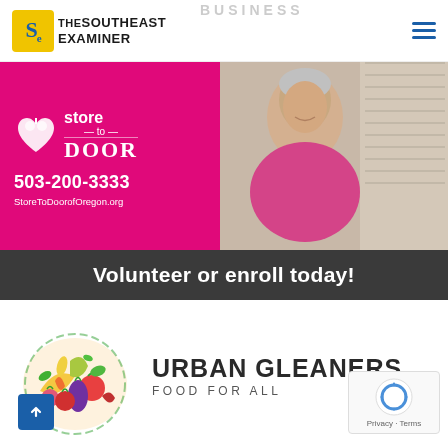THE SOUTHEAST EXAMINER
[Figure (infographic): Store to Door advertisement banner. Left half is magenta/pink background with white heart-apple logo, text 'store to DOOR', phone number '503-200-3333', and URL 'StoreToDoorofOregon.org'. Right half shows a smiling elderly woman. Bottom dark bar reads 'Volunteer or enroll today!']
[Figure (logo): Urban Gleaners logo - circular arrangement of colorful illustrated fruits and vegetables (tomato, eggplant, banana, pear, carrot, radish, corn, peas, peppers) with text 'URBAN GLEANERS FOOD FOR ALL']